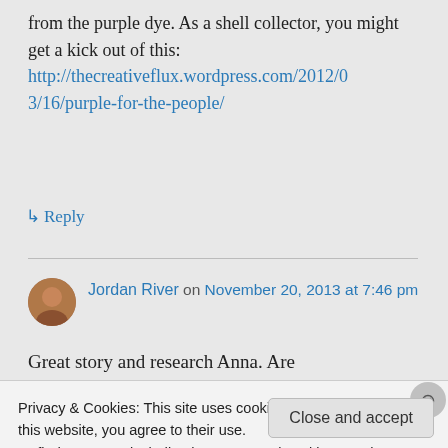from the purple dye. As a shell collector, you might get a kick out of this:
http://thecreativeflux.wordpress.com/2012/03/16/purple-for-the-people/
↳ Reply
Jordan River on November 20, 2013 at 7:46 pm
Great story and research Anna. Are
Privacy & Cookies: This site uses cookies. By continuing to use this website, you agree to their use.
To find out more, including how to control cookies, see here: Cookie Policy
Close and accept